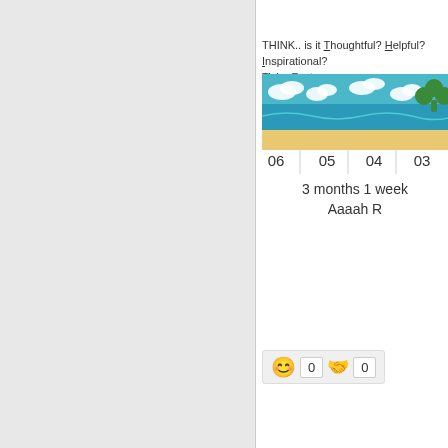THINK.. is it Thoughtful? Helpful? Inspirational? TickerFactory.com
[Figure (illustration): Beach scene ticker with ocean, sand, clouds and shamrock decoration. Numbers 06, 05, 04, 03 below. Shows '3 months 1 week' and 'Aaaah R']
0   0
10-16-2020, 11:44 AM
robin
Senior Member
[Figure (photo): Profile photo of a woman and man together, woman in blue patterned shirt and man in yellow polo shirt with a cap]
Join Date: Nov 2016
Location: Eagle Beach, Oceania, north side
Thanks. We do the same thing. I have receipts. Ugh.
Originally Posted by GETA62
Hello all. Just would like my la... airport upon arrival to Aruba.

as the owner of the property. W... some little things for out prope... pillows., tools for fixing around... for many many years without a... this time all arriving tourists w...